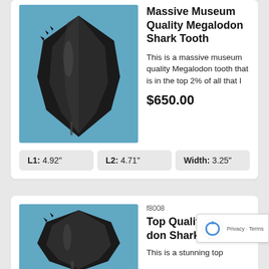[Figure (photo): Large black Megalodon shark tooth on blue background]
Massive Museum Quality Megalodon Shark Tooth
This is a massive museum quality Megalodon tooth that is in the top 2% of all that I
$650.00
L1: 4.92"  L2: 4.71"  Width: 3.25"
f8008
Top Quality Megalodon Shark Tooth
This is a stunning top
[Figure (photo): Black Megalodon shark tooth on blue background, second listing]